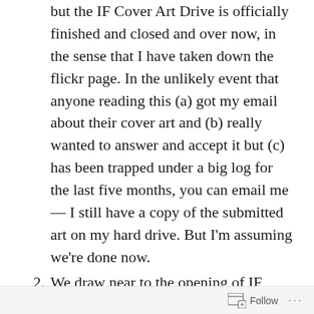but the IF Cover Art Drive is officially finished and closed and over now, in the sense that I have taken down the flickr page. In the unlikely event that anyone reading this (a) got my email about their cover art and (b) really wanted to answer and accept it but (c) has been trapped under a big log for the last five months, you can email me — I still have a copy of the submitted art on my hard drive. But I'm assuming we're done now.
We draw near to the opening of IF Comp 2008! Now is a good time to donate prizes. (No, I'm not entering this year myself. I just thought I'd mention it, because a
Follow